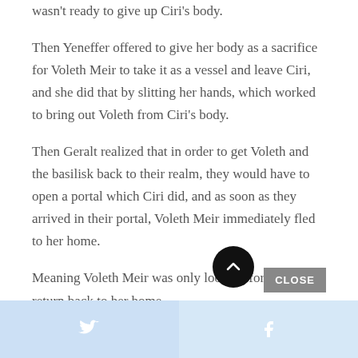wasn't ready to give up Ciri's body.
Then Yeneffer offered to give her body as a sacrifice for Voleth Meir to take it as a vessel and leave Ciri, and she did that by slitting her hands, which worked to bring out Voleth from Ciri's body.
Then Geralt realized that in order to get Voleth and the basilisk back to their realm, they would have to open a portal which Ciri did, and as soon as they arrived in their portal, Voleth Meir immediately fled to her home.
Meaning Voleth Meir was only looking for a vessel to return back to her home.
Twitter | Facebook social share bar